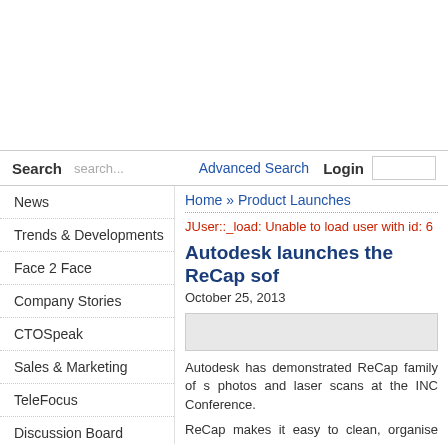Search   search...   Advanced Search   Login
Home » Product Launches
JUser::_load: Unable to load user with id: 6
Autodesk launches the ReCap sof
October 25, 2013
[Figure (other): Article image placeholder]
Autodesk has demonstrated ReCap family of s photos and laser scans at the INC Conference.
ReCap makes it easy to clean, organise and visu vice- president, Autodesk, says, "The future is...
News
Trends & Developments
Face 2 Face
Company Stories
CTOSpeak
Sales & Marketing
TeleFocus
Discussion Board
Viewpoint
Finance
Company Showcase